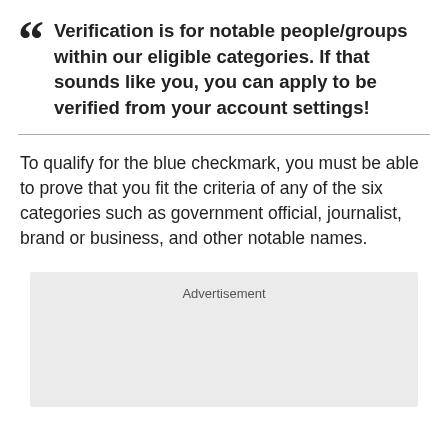Verification is for notable people/groups within our eligible categories. If that sounds like you, you can apply to be verified from your account settings!
To qualify for the blue checkmark, you must be able to prove that you fit the criteria of any of the six categories such as government official, journalist, brand or business, and other notable names.
[Figure (other): Advertisement placeholder box with light grey background and the label 'Advertisement' centered at the top.]